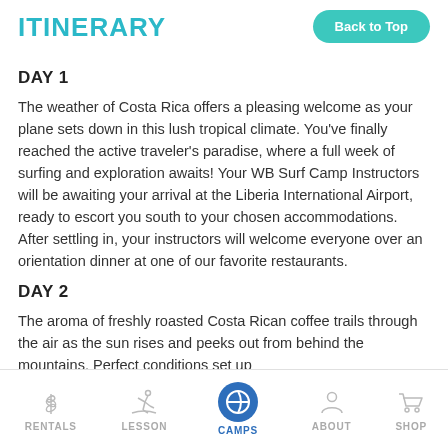ITINERARY
DAY 1
The weather of Costa Rica offers a pleasing welcome as your plane sets down in this lush tropical climate. You've finally reached the active traveler's paradise, where a full week of surfing and exploration awaits! Your WB Surf Camp Instructors will be awaiting your arrival at the Liberia International Airport, ready to escort you south to your chosen accommodations. After settling in, your instructors will welcome everyone over an orientation dinner at one of our favorite restaurants.
DAY 2
The aroma of freshly roasted Costa Rican coffee trails through the air as the sun rises and peeks out from behind the mountains. Perfect conditions set up with...
RENTALS   LESSON   CAMPS   ABOUT   SHOP